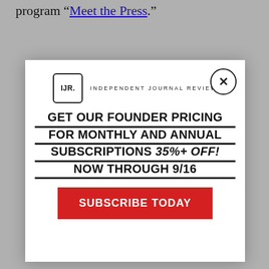program “Meet the Press.”
[Figure (other): Modal popup ad for Independent Journal Review (IJR) subscription offer. Contains IJR logo, headline 'GET OUR FOUNDER PRICING FOR MONTHLY AND ANNUAL SUBSCRIPTIONS 35%+ OFF! NOW THROUGH 9/16', a red 'SUBSCRIBE TODAY' button, and a close (X) button in the top right corner.]